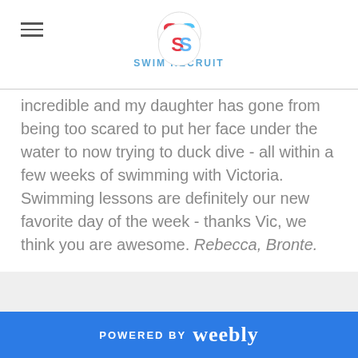SWIM RECRUIT
incredible and my daughter has gone from being too scared to put her face under the water to now trying to duck dive - all within a few weeks of swimming with Victoria. Swimming lessons are definitely our new favorite day of the week - thanks Vic, we think you are awesome. Rebecca, Bronte.
POWERED BY weebly